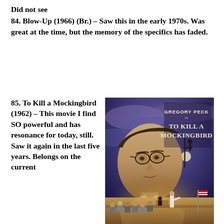Did not see
84. Blow-Up (1966) (Br.) – Saw this in the early 1970s. Was great at the time, but the memory of the specifics has faded.
85. To Kill a Mockingbird (1962) – This movie I find SO powerful and has resonance for today, still. Saw it again in the last five years. Belongs on the current
[Figure (photo): Movie poster for 'To Kill a Mockingbird' featuring Gregory Peck. A close-up of a man with glasses in the foreground, a courtroom scene below, and the text 'GREGORY PECK IN TO KILL A MOCKINGBIRD' against a purple/blue cloudy sky.]